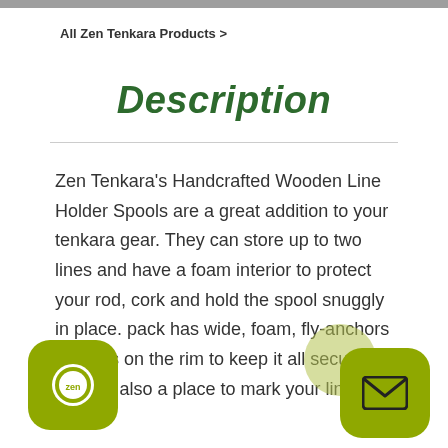All Zen Tenkara Products >
Description
Zen Tenkara's Handcrafted Wooden Line Holder Spools are a great addition to your tenkara gear. They can store up to two lines and have a foam interior to protect your rod, cork and hold the spool snuggly in place. pack has wide, foam, fly-anchors and nes on the rim to keep it all secure. There's also a place to mark your line